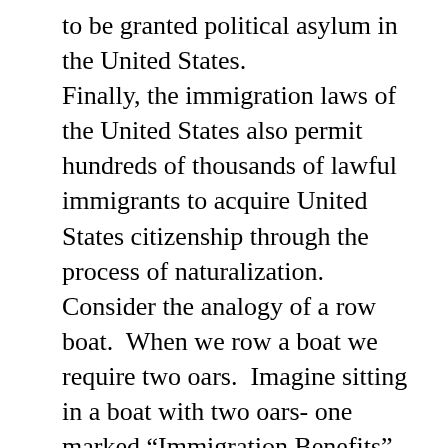to be granted political asylum in the United States. Finally, the immigration laws of the United States also permit hundreds of thousands of lawful immigrants to acquire United States citizenship through the process of naturalization. Consider the analogy of a row boat.  When we row a boat we require two oars.  Imagine sitting in a boat with two oars- one marked “Immigration Benefits” while the other is marked “Exclusion & Deportation.”  If one oar is taken away- the one marked “Exclusion & Deportation” and you tried to row the boat with just one oar, you would go around and around in circles endlessly and get absolutely